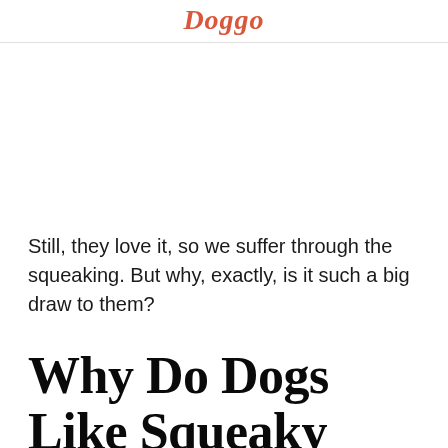Doggo
Still, they love it, so we suffer through the squeaking. But why, exactly, is it such a big draw to them?
Why Do Dogs Like Squeaky